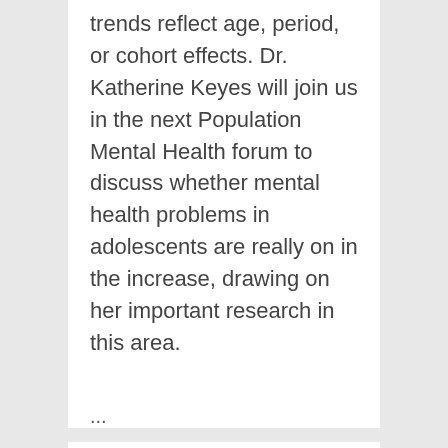trends reflect age, period, or cohort effects. Dr. Katherine Keyes will join us in the next Population Mental Health forum to discuss whether mental health problems in adolescents are really on in the increase, drawing on her important research in this area.
...
[Figure (illustration): Shield/badge shaped icon with a dark red top bar and gray body displaying the date: 2022, FEB, 15]
Safe, Sacred, Free: Queer Movements and Religious